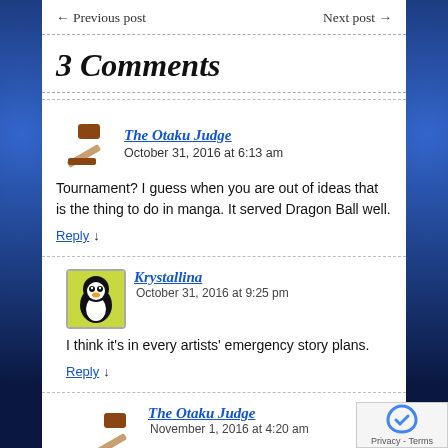← Previous post    Next post →
3 Comments
The Otaku Judge    October 31, 2016 at 6:13 am
Tournament? I guess when you are out of ideas that is the thing to do in manga. It served Dragon Ball well.
Reply ↓
Krystallina    October 31, 2016 at 9:25 pm
I think it's in every artists' emergency story plans.
Reply ↓
The Otaku Judge    November 1, 2016 at 4:20 am
It was cool the first time I saw it on Drgaon Ball